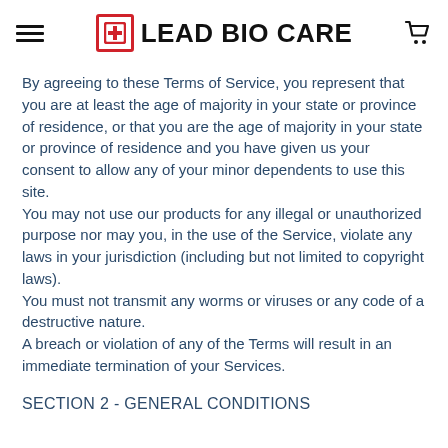LEAD BIO CARE
By agreeing to these Terms of Service, you represent that you are at least the age of majority in your state or province of residence, or that you are the age of majority in your state or province of residence and you have given us your consent to allow any of your minor dependents to use this site.
You may not use our products for any illegal or unauthorized purpose nor may you, in the use of the Service, violate any laws in your jurisdiction (including but not limited to copyright laws).
You must not transmit any worms or viruses or any code of a destructive nature.
A breach or violation of any of the Terms will result in an immediate termination of your Services.
SECTION 2 - GENERAL CONDITIONS